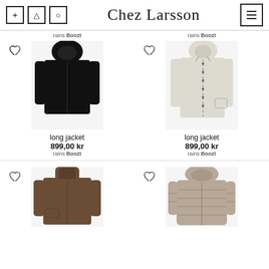Chez Larsson
rains Boozt
rains Boozt
[Figure (photo): Black long rain jacket with hood]
[Figure (photo): White/cream long rain jacket with hood and buttons]
long jacket
899,00 kr
rains Boozt
long jacket
899,00 kr
rains Boozt
[Figure (photo): Brown parka jacket with high collar]
[Figure (photo): Beige puffer jacket with hood]